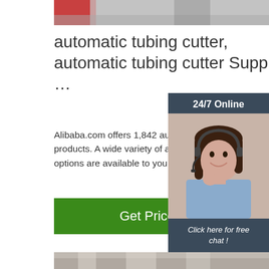[Figure (photo): Top image showing industrial tubing cutter machinery, partially cropped]
automatic tubing cutter, automatic tubing cutter Suppliers …
Alibaba.com offers 1,842 automatic tubing cutter products. A wide variety of automatic tubing cutter options are available to you,
[Figure (screenshot): Green Get Price button]
[Figure (infographic): Chat widget: 24/7 Online banner, photo of woman with headset, Click here for free chat text, orange QUOTATION button]
[Figure (photo): Bottom image showing interior of an industrial building with curtains and windows]